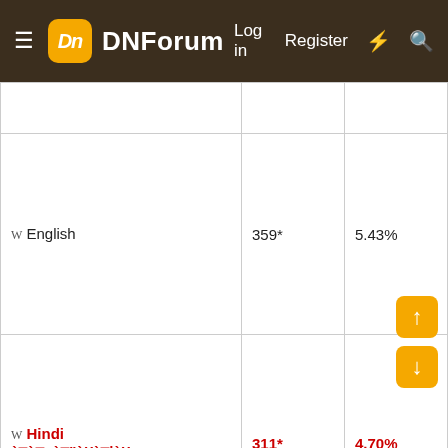DNForum — Log in | Register
| Language | Speakers | Percent | Region |
| --- | --- | --- | --- |
| (partial) Western... |  |  |  |
| W English | 359* | 5.43% | United K... Republic... Austral... Zealand... States, Commo... Nations |
| W Hindi / हिन्दी | 311* | 4.70% | India, N... |
| W Arabia... |  |  |  |